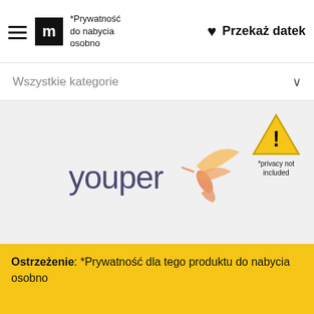*Prywatność do nabycia osobno   ♥ Przekaż datek
Wszystkie kategorie
[Figure (logo): Youper app logo with hummingbird icon in coral/gold gradient and 'youper' text in dark blue-grey]
[Figure (infographic): Warning triangle yellow icon with exclamation mark and text '*privacy not included']
Ostrzeżenie: *Prywatność dla tego produktu do nabycia osobno